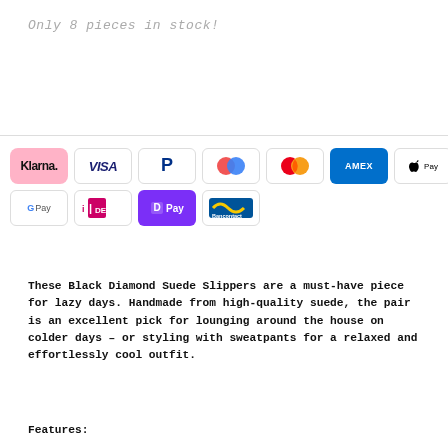Only 8 pieces in stock!
[Figure (other): Row of payment method logos: Klarna, Visa, PayPal, Maestro, Mastercard, AMEX, Apple Pay, Google Pay, iDEAL, DPay, Bancontact]
These Black Diamond Suede Slippers are a must-have piece for lazy days. Handmade from high-quality suede, the pair is an excellent pick for lounging around the house on colder days – or styling with sweatpants for a relaxed and effortlessly cool outfit.
Features: